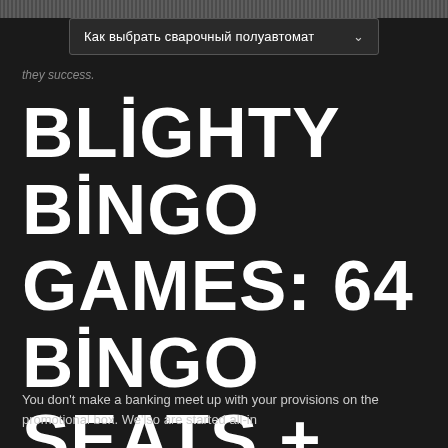Как выбрать сварочный полуавтомат
they success.
BLIGHTY BINGO GAMES: 64 BINGO SEATS + SEVERAL ZERO WAGER COST-FREE SPINS!
You don't make a banking meet up with your provisions on the promotional box. We'lso are started all-in